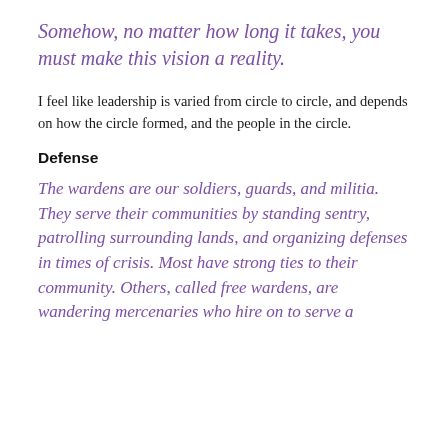Somehow, no matter how long it takes, you must make this vision a reality.
I feel like leadership is varied from circle to circle, and depends on how the circle formed, and the people in the circle.
Defense
The wardens are our soldiers, guards, and militia. They serve their communities by standing sentry, patrolling surrounding lands, and organizing defenses in times of crisis. Most have strong ties to their community. Others, called free wardens, are wandering mercenaries who hire on to serve a